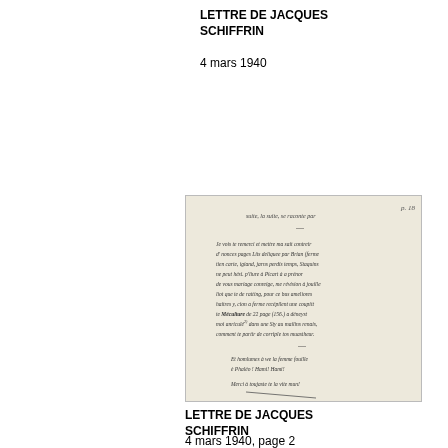LETTRE DE JACQUES SCHIFFRIN
4 mars 1940
[Figure (photo): Handwritten letter manuscript page 2, dated 4 mars 1940, from Jacques Schiffrin, written in French cursive script on aged paper]
LETTRE DE JACQUES SCHIFFRIN
4 mars 1940, page 2